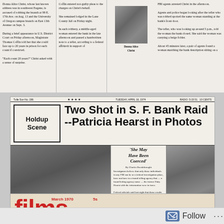[Figure (photo): Scanned newspaper clipping about Donna Alice Christ accused of robbing bank branches in Eugene Oregon, with photo of Donna Alice Christ]
[Figure (photo): Newspaper front page: 'Two Shot in S.F. Bank Raid --Patricia Hearst in Photos' with surveillance photos, article about holdup, sub-headlines about Kissinger speech and Zebra case shootings]
[Figure (photo): Partial view of Films magazine cover, March 1970, 5s, showing red masthead letters 'films and']